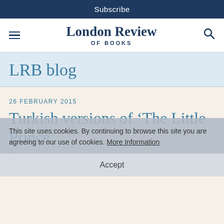Subscribe
London Review OF BOOKS
LRB blog
26 FEBRUARY 2015
Turkish versions of ‘The Little Prince’
Kaya Genç
This site uses cookies. By continuing to browse this site you are agreeing to our use of cookies. More Information
Accept